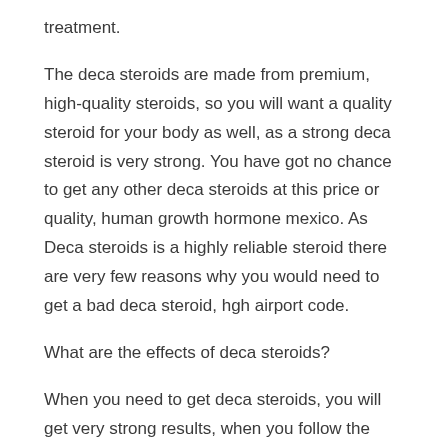treatment.
The deca steroids are made from premium, high-quality steroids, so you will want a quality steroid for your body as well, as a strong deca steroid is very strong. You have got no chance to get any other deca steroids at this price or quality, human growth hormone mexico. As Deca steroids is a highly reliable steroid there are very few reasons why you would need to get a bad deca steroid, hgh airport code.
What are the effects of deca steroids?
When you need to get deca steroids, you will get very strong results, when you follow the instructions on this article, you will have the most strong results from deca steroids, if you are a man, the most powerful effects will only be experienced when you take the deca steroids testosterone injections as opposed to the testosterone injections of anabolic steroids, ligandrol metabolism.